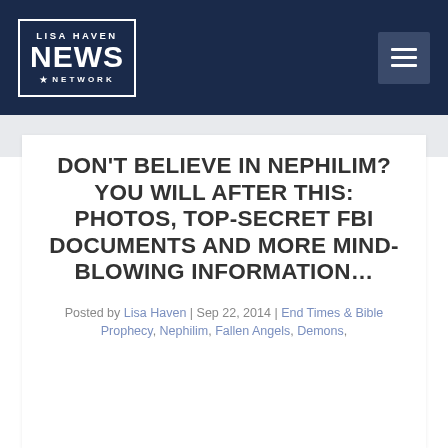LISA HAVEN NEWS NETWORK
DON'T BELIEVE IN NEPHILIM? YOU WILL AFTER THIS: PHOTOS, TOP-SECRET FBI DOCUMENTS AND MORE MIND-BLOWING INFORMATION…
Posted by Lisa Haven | Sep 22, 2014 | End Times & Bible Prophecy, Nephilim, Fallen Angels, Demons,